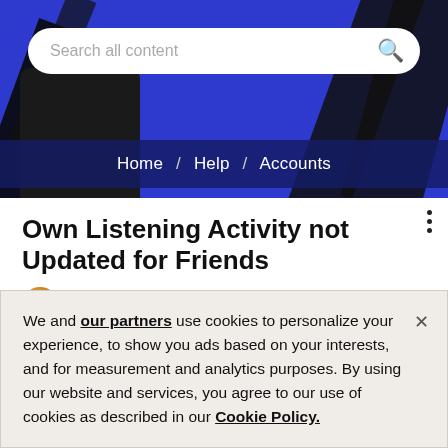[Figure (screenshot): Blue header banner with diagonal black stripes, a white search bar reading 'Search all content' with a search icon, a dark phone shape, and a dark navy breadcrumb bar showing 'Home / Help / Accounts']
Home / Help / Accounts
Own Listening Activity not Updated for Friends
lemora
We and our partners use cookies to personalize your experience, to show you ads based on your interests, and for measurement and analytics purposes. By using our website and services, you agree to our use of cookies as described in our Cookie Policy.